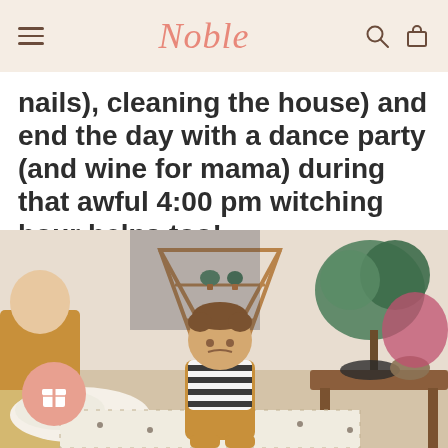Noble
nails), cleaning the house) and end the day with a dance party (and wine for mama) during that awful 4:00 pm witching hour helps too!
[Figure (photo): A young child sitting on a patterned rug in a stylishly decorated living room with plants, a triangular wooden shelf, and a wooden coffee table. Another child is partially visible on the left side. The room has bohemian decor elements.]